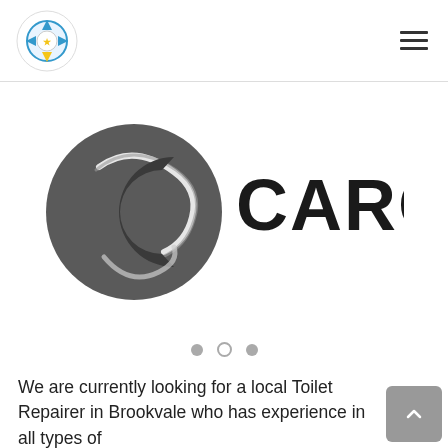Navigation bar with site logo and hamburger menu
[Figure (logo): Caroma brand logo: dark circular C emblem on left with 'CAROMA' wordmark in bold black sans-serif on right]
[Figure (other): Carousel navigation dots: three dots, middle one is outlined (active indicator)]
We are currently looking for a local Toilet Repairer in Brookvale who has experience in all types of